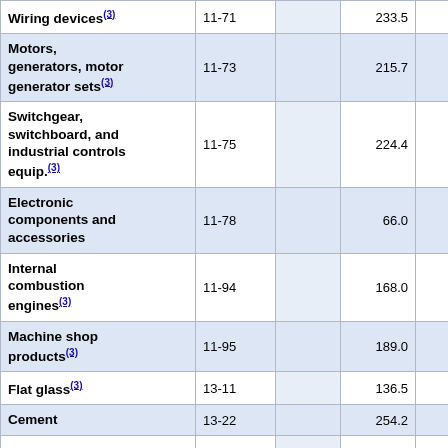| Product | Code |  |  |  |  |
| --- | --- | --- | --- | --- | --- |
| Wiring devices(3) | 11-71 |  | 233.5 | 232.6 | 23… |
| Motors, generators, motor generator sets(3) | 11-73 |  | 215.7 | 219.5 | 21… |
| Switchgear, switchboard, and industrial controls equip.(3) | 11-75 |  | 224.4 | 227.1 | 22… |
| Electronic components and accessories | 11-78 |  | 66.0 | 65.6 | 6… |
| Internal combustion engines(3) | 11-94 |  | 168.0 | 168.4 | 16… |
| Machine shop products(3) | 11-95 |  | 189.0 | 189.1 | 19… |
| Flat glass(3) | 13-11 |  | 136.5 | 136.5 | 13… |
| Cement | 13-22 |  | 254.2 | 253.3 | 25… |